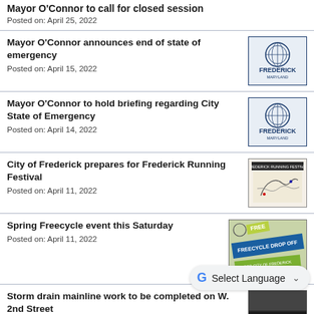Mayor O'Connor to call for closed session
Posted on: April 25, 2022
Mayor O'Connor announces end of state of emergency
Posted on: April 15, 2022
[Figure (logo): Frederick Maryland city seal logo]
Mayor O'Connor to hold briefing regarding City State of Emergency
Posted on: April 14, 2022
[Figure (logo): Frederick Maryland city seal logo]
City of Frederick prepares for Frederick Running Festival
Posted on: April 11, 2022
[Figure (map): Map image for Frederick Running Festival route]
Spring Freecycle event this Saturday
Posted on: April 11, 2022
[Figure (infographic): Freecycle Drop Off sign — FREE, FREECYCLE DROP OFF, FOR CITY OF FREDERICK RESIDENTS ONLY]
Storm drain mainline work to be completed on W. 2nd Street
Posted on: April 4, 2022